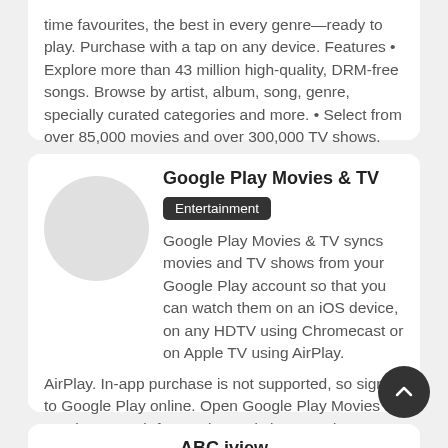time favourites, the best in every genre—ready to play. Purchase with a tap on any device. Features • Explore more than 43 million high-quality, DRM-free songs. Browse by artist, album, song, genre, specially curated categories and more. • Select from over 85,000 movies and over 300,000 TV shows. Browse by title,...
Google Play Movies & TV
Entertainment
Google Play Movies & TV syncs movies and TV shows from your Google Play account so that you can watch them on an iOS device, on any HDTV using Chromecast or on Apple TV using AirPlay. In-app purchase is not supported, so sign in to Google Play online. Open Google Play Movies & TV, then search for movies and shows and manage your wishlist and library. Download and watch from anywhere, even when not connected. When you sign...
ABC iview